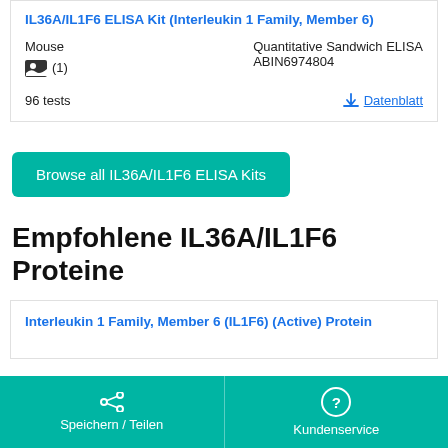IL36A/IL1F6 ELISA Kit (Interleukin 1 Family, Member 6)
Mouse | Quantitative Sandwich ELISA | (1) | ABIN6974804 | 96 tests | Datenblatt
Browse all IL36A/IL1F6 ELISA Kits
Empfohlene IL36A/IL1F6 Proteine
Interleukin 1 Family, Member 6 (IL1F6) (Active) Protein
Speichern / Teilen | Kundenservice